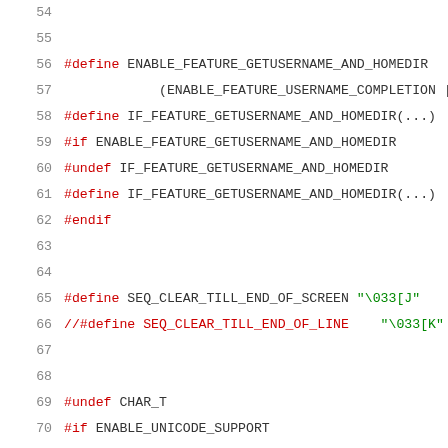Source code listing, lines 54–75, C preprocessor macros and unicode support definitions